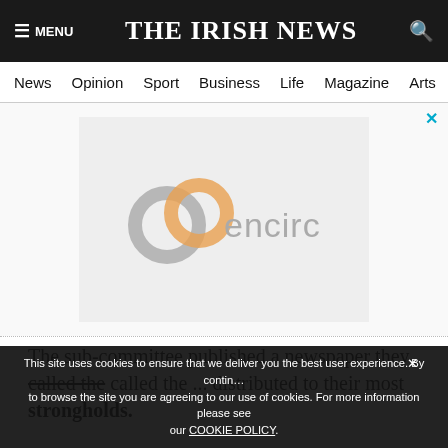☰ MENU | THE IRISH NEWS | 🔍
News  Opinion  Sport  Business  Life  Magazine  Arts
[Figure (logo): Encirc logo advertisement — circular interlinked rings in grey and orange with 'encirc' text in grey]
The sub-committee published a newspaper they called the ... distributed to their most strongholds.
This site uses cookies to ensure that we deliver you the best user experience. By continuing to browse the site you are agreeing to our use of cookies. For more information please see our COOKIE POLICY.